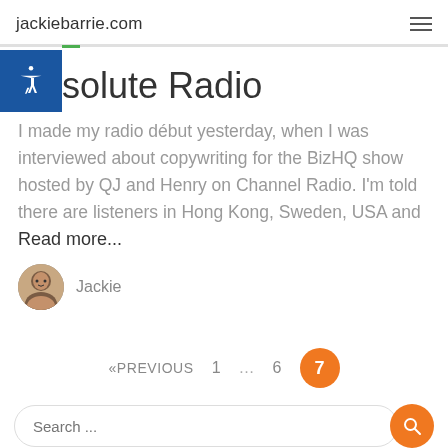jackiebarrie.com
Absolute Radio
I made my radio début yesterday, when I was interviewed about copywriting for the BizHQ show hosted by QJ and Henry on Channel Radio. I'm told there are listeners in Hong Kong, Sweden, USA and Read more...
Jackie
«PREVIOUS  1  …  6  7